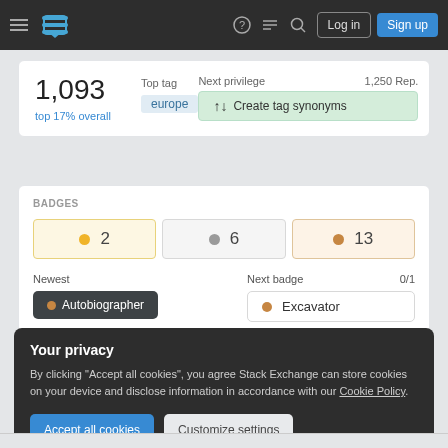Stack Exchange navigation bar with Log in and Sign up buttons
1,093
top 17% overall
Top tag
europe
Next privilege
1,250 Rep.
↑↓ Create tag synonyms
BADGES
● 2   ● 6   ● 13
Newest
● Autobiographer
Next badge 0/1
● Excavator
Your privacy
By clicking "Accept all cookies", you agree Stack Exchange can store cookies on your device and disclose information in accordance with our Cookie Policy.
Accept all cookies   Customize settings